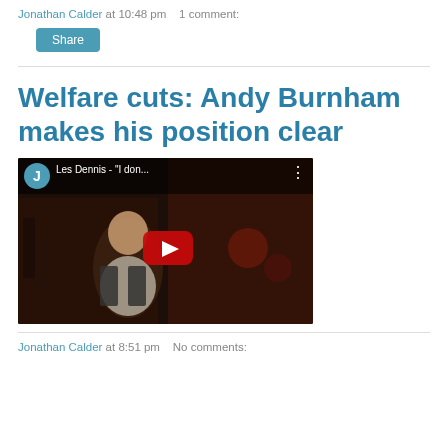Jonathan Calder at 10:48 pm   1 comment:
Share
Welfare cuts: Andy Burnham makes his position clear
[Figure (screenshot): Embedded YouTube video thumbnail showing Les Dennis - "I don..." with play button, channel avatar J, and dark bar scene background.]
Jonathan Calder at 8:51 pm   No comments: